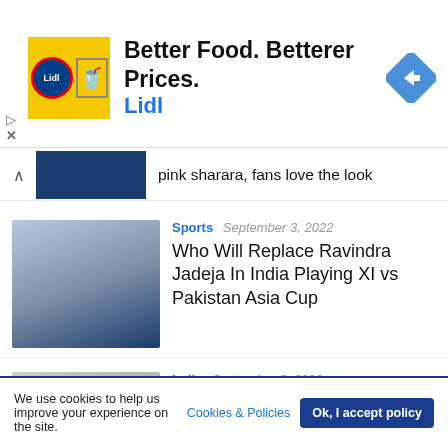[Figure (other): Lidl advertisement banner: Better Food. Betterer Prices. Lidl with logo and navigation arrow icon]
pink sharara, fans love the look
[Figure (photo): Sports photo of Ravindra Jadeja in blue India cricket jersey with arms spread]
Sports  September 3, 2022
Who Will Replace Ravindra Jadeja In India Playing XI vs Pakistan Asia Cup
[Figure (photo): News photo showing hands suggesting distress, with NEWS badge overlay]
India  September 3, 2022
Suicide cases due to increasing intoxication, more than 10 thousand ended their lives in...
We use cookies to help us improve your experience on the site.